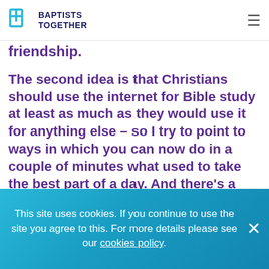BAPTISTS TOGETHER
friendship.
The second idea is that Christians should use the internet for Bible study at least as much as they would use it for anything else – so I try to point to ways in which you can now do in a couple of minutes what used to take the best part of a day. And there's a chapter on gifts! Each chapter ends with questions for discussion.
One day, an e-mail from Tasmania enquired about something that had already been answered
This site uses cookies. If you continue to use the site you agree to this. For more details please see our cookies policy.